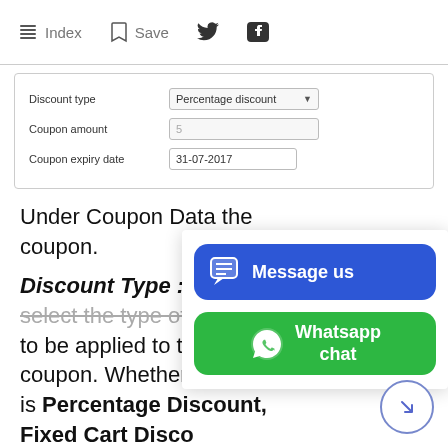Index   Save   [Twitter icon]   [Facebook icon]
[Figure (screenshot): Form panel showing Discount type (Percentage discount dropdown), Coupon amount (5), Coupon expiry date (31-07-2017)]
Under Coupon Data the coupon.
Discount Type : Seller select the type of discount to be applied to the coupon. Whether it is Percentage Discount, Fixed Cart Disco...
[Figure (screenshot): Popup overlay with blue 'Message us' button and green 'Whatsapp chat' button]